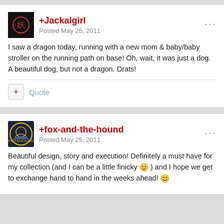+Jackalgirl
Posted May 25, 2011
I saw a dragon today, running with a new mom & baby/baby stroller on the running path on base! Oh, wait, it was just a dog. A beautiful dog, but not a dragon. Drats!
Quote
+fox-and-the-hound
Posted May 25, 2011
Beautiful design, story and execution! Definitely a must have for my collection (and I can be a little finicky 😊) and I hope we get to exchange hand to hand in the weeks ahead! 😄